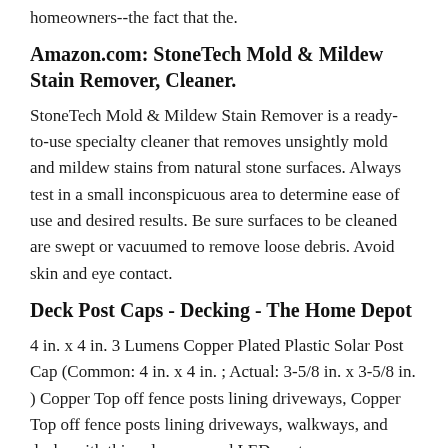homeowners--the fact that the.
Amazon.com: StoneTech Mold & Mildew Stain Remover, Cleaner.
StoneTech Mold & Mildew Stain Remover is a ready-to-use specialty cleaner that removes unsightly mold and mildew stains from natural stone surfaces. Always test in a small inconspicuous area to determine ease of use and desired results. Be sure surfaces to be cleaned are swept or vacuumed to remove loose debris. Avoid skin and eye contact.
Deck Post Caps - Decking - The Home Depot
4 in. x 4 in. 3 Lumens Copper Plated Plastic Solar Post Cap (Common: 4 in. x 4 in. ; Actual: 3-5/8 in. x 3-5/8 in. ) Copper Top off fence posts lining driveways, Copper Top off fence posts lining driveways, walkways, and decks with this solar-powered LED post cap.